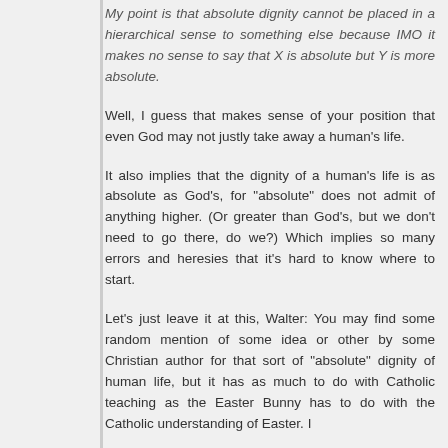My point is that absolute dignity cannot be placed in a hierarchical sense to something else because IMO it makes no sense to say that X is absolute but Y is more absolute.
Well, I guess that makes sense of your position that even God may not justly take away a human's life.
It also implies that the dignity of a human's life is as absolute as God's, for "absolute" does not admit of anything higher. (Or greater than God's, but we don't need to go there, do we?) Which implies so many errors and heresies that it's hard to know where to start.
Let's just leave it at this, Walter: You may find some random mention of some idea or other by some Christian author for that sort of "absolute" dignity of human life, but it has as much to do with Catholic teaching as the Easter Bunny has to do with the Catholic understanding of Easter. I